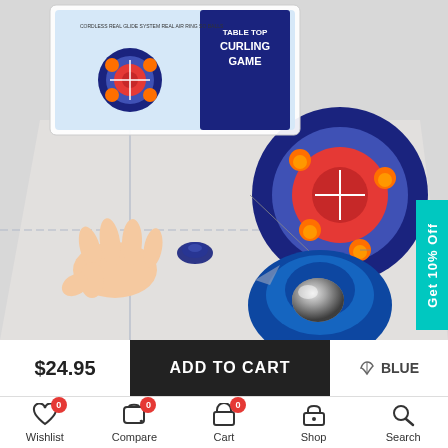[Figure (photo): Product photo of a tabletop curling game showing the game board, box packaging, close-up of a blue curling stone, orange pucks on target, and a hand sliding a blue stone. A teal 'Get 10% Off' tab appears on the right side.]
$24.95
ADD TO CART
BLUE
Wishlist 0
Compare 0
Cart 0
Shop
Search